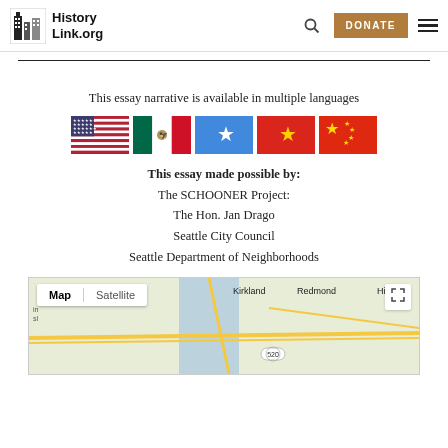HistoryLink.org
This essay narrative is available in multiple languages
[Figure (illustration): Row of five national flags: USA, Mexico, Somalia, Vietnam, China]
This essay made possible by:
The SCHOONER Project:
The Hon. Jan Drago
Seattle City Council
Seattle Department of Neighborhoods
[Figure (map): Google Maps screenshot showing Seattle area including Kirkland, Redmond with Map/Satellite toggle and expand button]